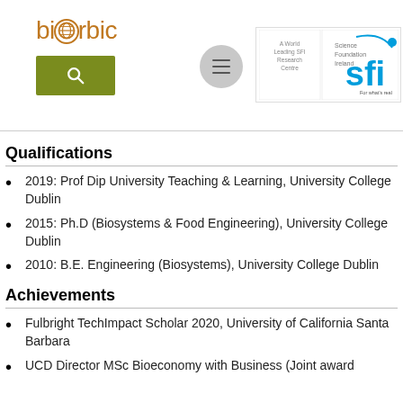[Figure (logo): biOrbic logo with globe icon replacing the letter O]
[Figure (logo): Science Foundation Ireland (SFI) logo with text 'A World Leading SFI Research Centre']
Qualifications
2019: Prof Dip University Teaching & Learning, University College Dublin
2015: Ph.D (Biosystems & Food Engineering), University College Dublin
2010: B.E. Engineering (Biosystems), University College Dublin
Achievements
Fulbright TechImpact Scholar 2020, University of California Santa Barbara
UCD Director MSc Bioeconomy with Business (Joint award...